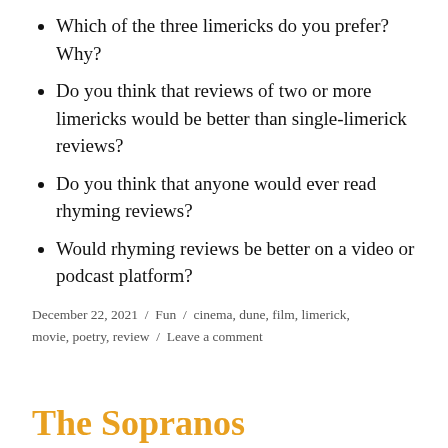Which of the three limericks do you prefer? Why?
Do you think that reviews of two or more limericks would be better than single-limerick reviews?
Do you think that anyone would ever read rhyming reviews?
Would rhyming reviews be better on a video or podcast platform?
December 22, 2021 / Fun / cinema, dune, film, limerick, movie, poetry, review / Leave a comment
The Sopranos